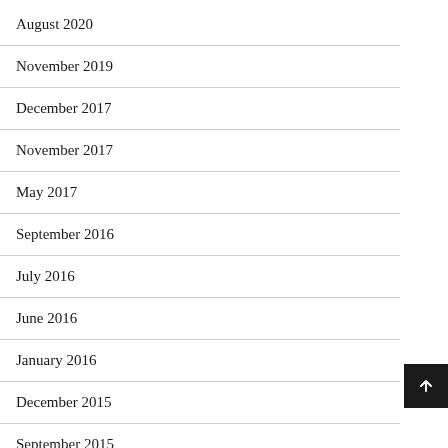August 2020
November 2019
December 2017
November 2017
May 2017
September 2016
July 2016
June 2016
January 2016
December 2015
September 2015